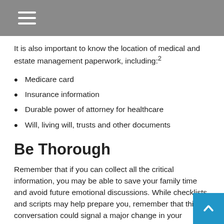It is also important to know the location of medical and estate management paperwork, including:²
Medicare card
Insurance information
Durable power of attorney for healthcare
Will, living will, trusts and other documents
Be Thorough
Remember that if you can collect all the critical information, you may be able to save your family time and avoid future emotional discussions. While checklists and scripts may help prepare you, remember that this conversation could signal a major change in your parent's life. The transition from provider to dependent can be difficult for any parent and has the